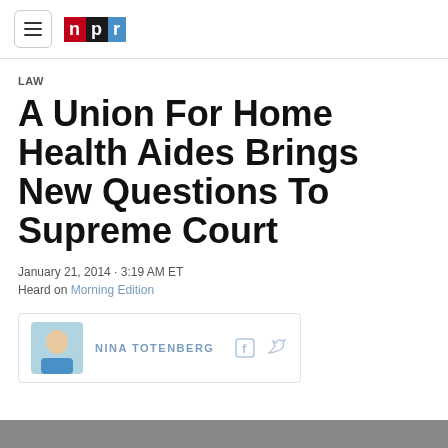NPR
LAW
A Union For Home Health Aides Brings New Questions To Supreme Court
January 21, 2014 · 3:19 AM ET
Heard on Morning Edition
NINA TOTENBERG